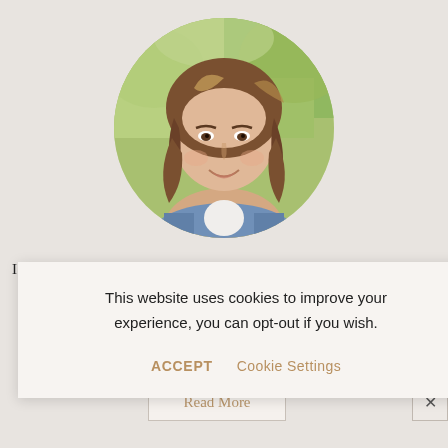[Figure (photo): Circular profile photo of a smiling woman with long brown highlighted hair wearing a denim jacket, outdoors with green foliage background.]
I am Aysegul and I am so glad you are here. Foolproof recipes … e of
This website uses cookies to improve your experience, you can opt-out if you wish.
ACCEPT   Cookie Settings
Read More